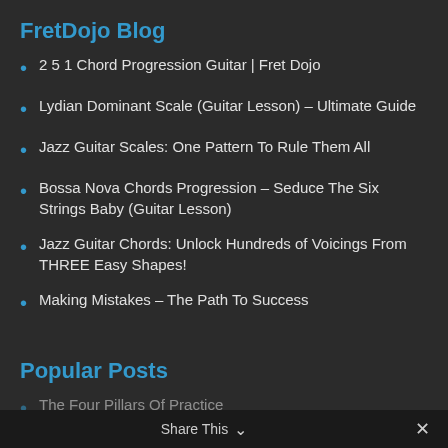FretDojo Blog
2 5 1 Chord Progression Guitar | Fret Dojo
Lydian Dominant Scale (Guitar Lesson) – Ultimate Guide
Jazz Guitar Scales: One Pattern To Rule Them All
Bossa Nova Chords Progression – Seduce The Six Strings Baby (Guitar Lesson)
Jazz Guitar Chords: Unlock Hundreds of Voicings From THREE Easy Shapes!
Making Mistakes – The Path To Success
Popular Posts
The Four Pillars Of Practice
Share This ∨  ✕